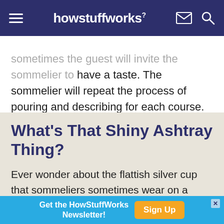howstuffworks
sometimes the guest will invite the sommelier to have a taste. The sommelier will repeat the process of pouring and describing for each course.
What's That Shiny Ashtray Thing?
Ever wonder about the flattish silver cup that sommeliers sometimes wear on a chain around their necks? No, it's not the gourmand's version of Flava Flav's alarm
Get the HowStuffWorks Newsletter! Sign Up